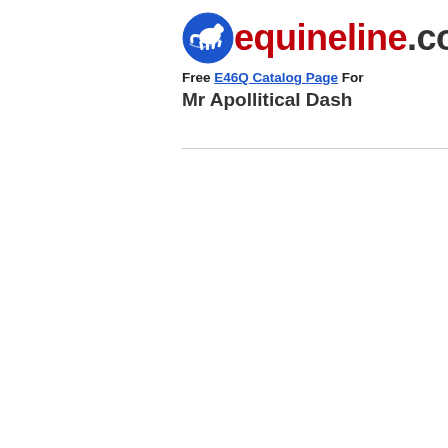[Figure (logo): equineline.com logo with horse icon and red/grey text]
Free E46Q Catalog Page For Mr Apollitical Dash